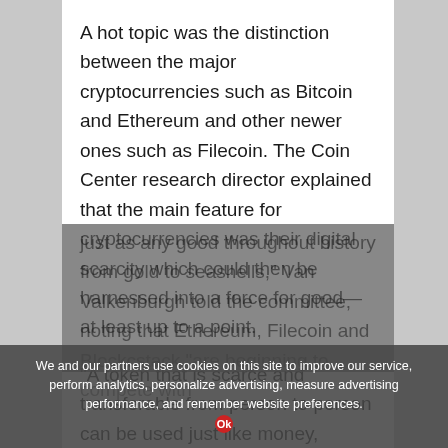A hot topic was the distinction between the major cryptocurrencies such as Bitcoin and Ethereum and other newer ones such as Filecoin. The Coin Center research director explained that the main feature for cryptocurrencies was their digital scarcity which could then be harnessed into a force for good—at least up to a point.
“A token that is scarce and transferable from person to person can be used just like money, just as any good throughout history from gold to seashells,” Van Valkenburgh told the committee, noting that Ethereum, Filecoin and Blockcstack “are beginning to compete with
We and our partners use cookies on this site to improve our service, perform analytics, personalize advertising, measure advertising performance, and remember website preferences.